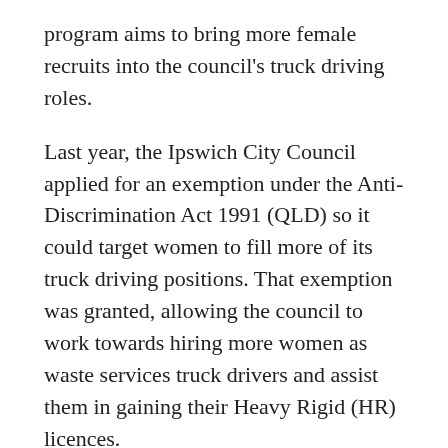program aims to bring more female recruits into the council's truck driving roles.
Last year, the Ipswich City Council applied for an exemption under the Anti-Discrimination Act 1991 (QLD) so it could target women to fill more of its truck driving positions. That exemption was granted, allowing the council to work towards hiring more women as waste services truck drivers and assist them in gaining their Heavy Rigid (HR) licences.
The move was welcomed by Ipswich Mayor Teresa Harding. "Just like our industry colleagues, we want to attract the best people for the job. This includes recruiting and supporting all members of our community who are interested in working in traditionally male